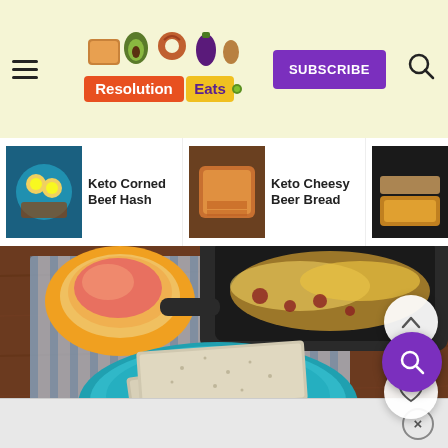Resolution Eats — SUBSCRIBE
[Figure (screenshot): Website navigation header with Resolution Eats logo, hamburger menu, SUBSCRIBE button in purple, and search icon on light yellow background]
[Figure (screenshot): Horizontal navigation strip showing three recipe thumbnails: Keto Corned Beef Hash, Keto Cheesy Beer Bread, Keto Fish Sticks and Chips]
[Figure (photo): Food photo showing grain crackers/flatbreads on a teal plate, with a cast iron skillet of cheesy food and an orange bowl of dipping sauce on a striped cloth]
Advertisement close button